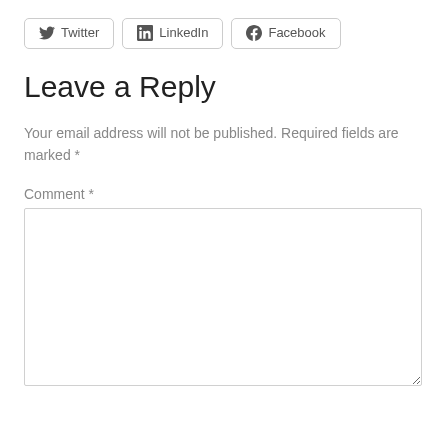[Figure (other): Social share buttons for Twitter, LinkedIn, and Facebook]
Leave a Reply
Your email address will not be published. Required fields are marked *
Comment *
[Figure (other): Empty comment text area input box]